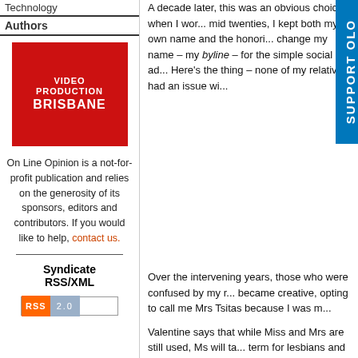Technology
Authors
[Figure (illustration): Red advertisement banner for Video Production Brisbane]
On Line Opinion is a not-for-profit publication and relies on the generosity of its sponsors, editors and contributors. If you would like to help, contact us.
Syndicate RSS/XML
[Figure (other): RSS 2.0 badge]
A decade later, this was an obvious choice when I work... mid twenties, I kept both my own name and the honori... change my name – my byline – for the simple social ad... Here’s the thing – none of my relatives had an issue wi...
Over the intervening years, those who were confused by my n... became creative, opting to call me Mrs Tsitas because I was m...
Valentine says that while Miss and Mrs are still used, Ms will ta... term for lesbians and divorced women, and won't accept it as... get mail addressed to Ms.